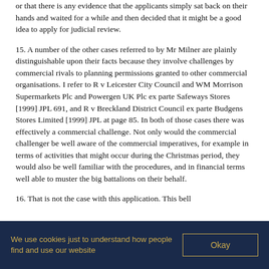or that there is any evidence that the applicants simply sat back on their hands and waited for a while and then decided that it might be a good idea to apply for judicial review.
15. A number of the other cases referred to by Mr Milner are plainly distinguishable upon their facts because they involve challenges by commercial rivals to planning permissions granted to other commercial organisations. I refer to R v Leicester City Council and WM Morrison Supermarkets Plc and Powergen UK Plc ex parte Safeways Stores [1999] JPL 691, and R v Breckland District Council ex parte Budgens Stores Limited [1999] JPL at page 85. In both of those cases there was effectively a commercial challenge. Not only would the commercial challenger be well aware of the commercial imperatives, for example in terms of activities that might occur during the Christmas period, they would also be well familiar with the procedures, and in financial terms well able to muster the big battalions on their behalf.
16. That is not the case with this application. This bell...
We use cookies just to understand how people find and use our website
Okay